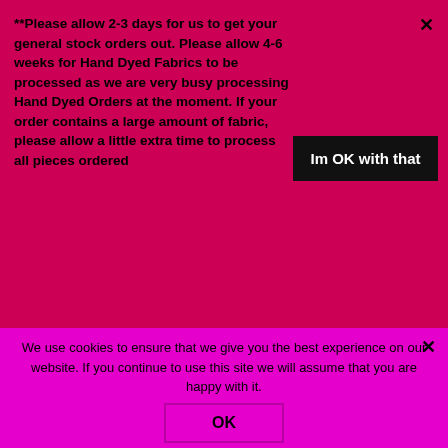**Please allow 2-3 days for us to get your general stock orders out. Please allow 4-6 weeks for Hand Dyed Fabrics to be processed as we are very busy processing Hand Dyed Orders at the moment. If your order contains a large amount of fabric, please allow a little extra time to process all pieces ordered
Ice Dyed
Autumn Collection
Garden Collection
Unicorn Collection
We use cookies to ensure that we give you the best experience on our website. If you continue to use this site we will assume that you are happy with it.